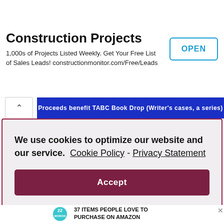[Figure (screenshot): Advertisement banner for Construction Projects: '1,000s of Projects Listed Weekly. Get Your Free List of Sales Leads! constructionmonitor.com/Free/Leads' with an OPEN button]
[Figure (screenshot): Navigation bar with back arrow and a blue link bar reading 'Proceeds benefit TABC Book Drop (Writer's cases, a series)']
We use cookies to optimize our website and our service.  Cookie Policy  -  Privacy Statement
Accept
[Figure (screenshot): Advertisement: '22 WORDS' logo badge and text '37 ITEMS PEOPLE LOVE TO PURCHASE ON AMAZON' with product images]